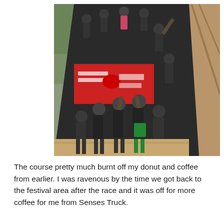[Figure (photo): A group of people dressed in black athletic wear climbing over a large slanted wall obstacle at what appears to be an obstacle course race. Some participants are at the top pulling others up, while others below are helping boost teammates. A red and black banner with text 'Great Eastern' and 'Run Easy' is visible on the wall. Wooden support structure is visible on the right side.]
The course pretty much burnt off my donut and coffee from earlier. I was ravenous by the time we got back to the festival area after the race and it was off for more coffee for me from Senses Truck.